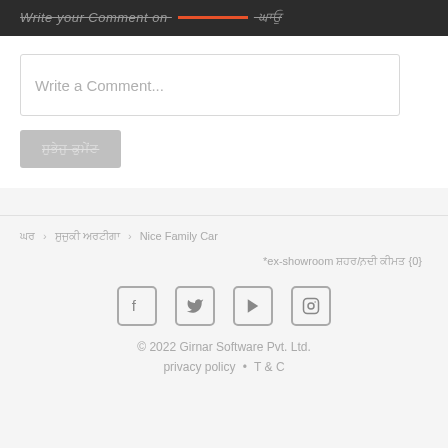Write your Comment on [text in non-Latin script]
Write a Comment...
[Submit button in non-Latin script]
[breadcrumb] > [non-Latin text] > [non-Latin text] > Nice Family Car
*ex-showroom [non-Latin text] {0}
[Figure (other): Social media icons: Facebook, Twitter, YouTube, Instagram]
© 2022 Girnar Software Pvt. Ltd.
privacy policy • T & C